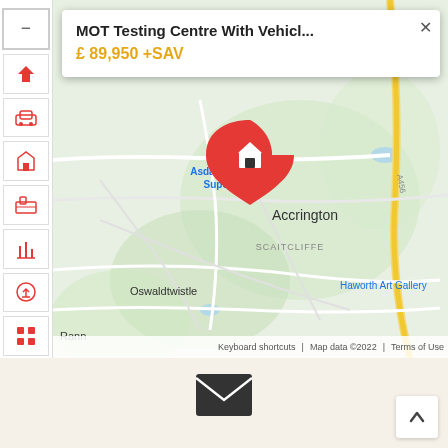[Figure (map): Google Maps screenshot showing Accrington area in Lancashire, England. Shows Asda Accrington Superstore, Accrington town center, Oswaldtwistle, Scaitcliffe, Haworth Art Gallery, Stonefold, Acre, Rann, and Cra (partially visible). A red location pin with a house icon marks a business property. Yellow roads visible. Map data ©2022.]
MOT Testing Centre With Vehicl...
£ 89,950 +SAV
Keyboard shortcuts  Map data ©2022  Terms of Use